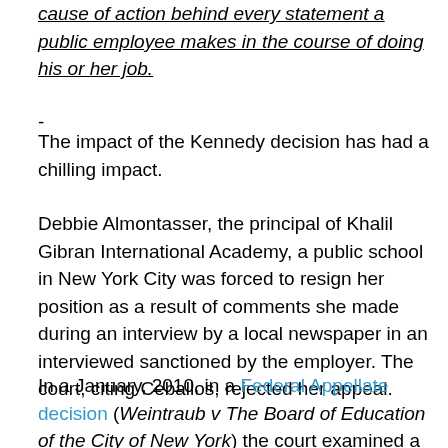cause of action behind every statement a public employee makes in the course of doing his or her job.
-
The impact of the Kennedy decision has had a chilling impact.
Debbie Almontasser, the principal of Khalil Gibran International Academy, a public school in New York City was forced to resign her position as a result of comments she made during an interview by a local newspaper in an interviewed sanctioned by the employer. The court, citing Ceballos, rejected her appeal.
In a January, 2010, in a Federal Appellate decision (Weintraub v The Board of Education of the City of New York) the court examined a claim by a New York City